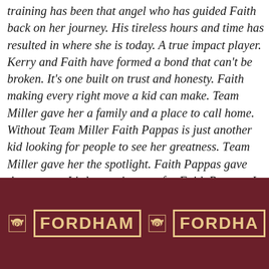training has been that angel who has guided Faith back on her journey. His tireless hours and time has resulted in where she is today. A true impact player. Kerry and Faith have formed a bond that can't be broken. It's one built on trust and honesty. Faith making every right move a kid can make. Team Miller gave her a family and a place to call home. Without Team Miller Faith Pappas is just another kid looking for people to see her greatness. Team Miller gave her the spotlight. Faith Pappas gave them a star. It's been a journey for Faith Pappas, I just hope nobody thinks it was a smooth ride. Because it has not been. She and her parents have made sacrifices so few are willing to make. But then again nobody turns down tons of scholarships from Big East and other major programs to play at Fordham University.
[Figure (photo): Fordham University banner/backdrop showing repeating Fordham 'F' ram logos and 'FORDHAM' text in cream/gold on dark maroon/crimson background]